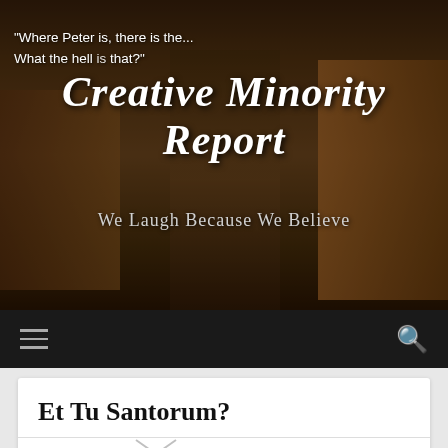[Figure (screenshot): Header banner of Creative Minority Report blog with dark painting background showing historical/religious figures. Contains quote text, blog title, and tagline.]
Creative Minority Report — We Laugh Because We Believe
"Where Peter is, there is the...
What the hell is that?"
Creative Minority Report
We Laugh Because We Believe
Et Tu Santorum?
Julie Robison of Corner with a View writes this guest post about her take on Newt and Rick Santorum. As you might imagine, Patrick, who hearts him some Santorum, disagrees.